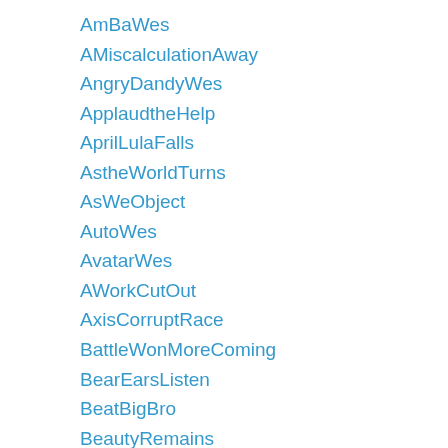AmBaWes
AMiscalculationAway
AngryDandyWes
ApplaudtheHelp
AprilLulaFalls
AstheWorldTurns
AsWeObject
AutoWes
AvatarWes
AWorkCutOut
AxisCorruptRace
BattleWonMoreComing
BearEarsListen
BeatBigBro
BeautyRemains
BejeWes
BetterYear
BeyondStatues
BigAppTargt
BigBWes